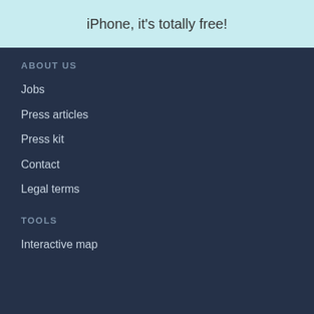iPhone, it's totally free!
ABOUT US
Jobs
Press articles
Press kit
Contact
Legal terms
TOOLS
Interactive map